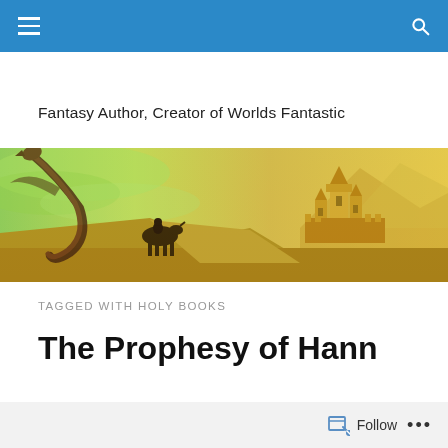Navigation bar with menu and search icons
Fantasy Author, Creator of Worlds Fantastic
[Figure (illustration): Fantasy landscape banner image showing a dragon silhouette curling in a green sky on the left and a golden castle/citadel on a hilltop on the right, with a mounted rider in the foreground.]
TAGGED WITH HOLY BOOKS
The Prophesy of Hann
Follow ...